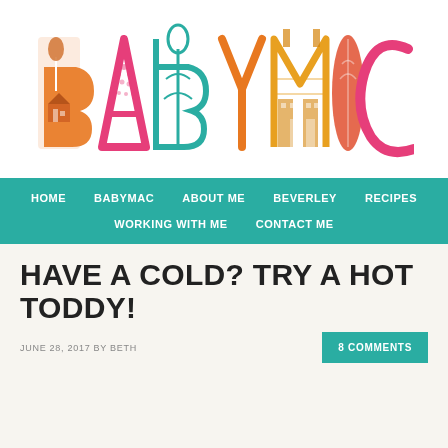[Figure (logo): BABYMAC logo with illustrated decorative letters in orange, pink, teal, and orange-red colors featuring trees, houses, and nature motifs inside each letter]
HOME   BABYMAC   ABOUT ME   BEVERLEY   RECIPES   WORKING WITH ME   CONTACT ME
HAVE A COLD? TRY A HOT TODDY!
JUNE 28, 2017 BY BETH
8 COMMENTS